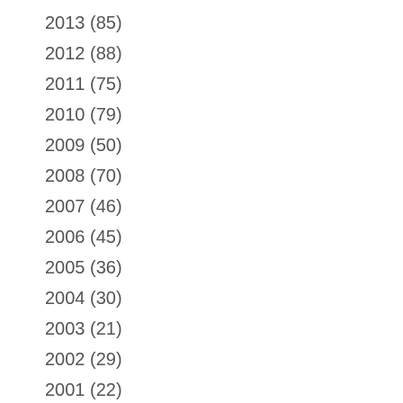2013 (85)
2012 (88)
2011 (75)
2010 (79)
2009 (50)
2008 (70)
2007 (46)
2006 (45)
2005 (36)
2004 (30)
2003 (21)
2002 (29)
2001 (22)
2000 (26)
1999 (8)
1998 (10)